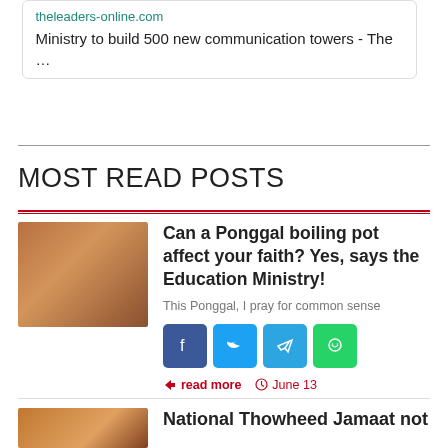theleaders-online.com
Ministry to build 500 new communication towers - The …
MOST READ POSTS
Can a Ponggal boiling pot affect your faith? Yes, says the Education Ministry!
This Ponggal, I pray for common sense
read more   June 13
National Thowheed Jamaat not